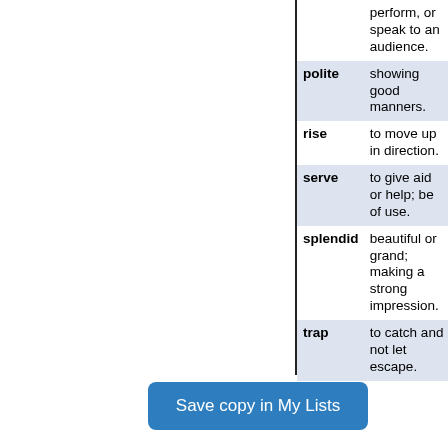| Word | Definition |
| --- | --- |
|  | perform, or speak to an audience. |
| polite | showing good manners. |
| rise | to move up in direction. |
| serve | to give aid or help; be of use. |
| splendid | beautiful or grand; making a strong impression. |
| trap | to catch and not let escape. |
Save copy in My Lists